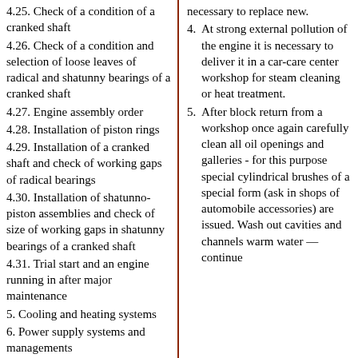4.25. Check of a condition of a cranked shaft
4.26. Check of a condition and selection of loose leaves of radical and shatunny bearings of a cranked shaft
4.27. Engine assembly order
4.28. Installation of piston rings
4.29. Installation of a cranked shaft and check of working gaps of radical bearings
4.30. Installation of shatunno-piston assemblies and check of size of working gaps in shatunny bearings of a cranked shaft
4.31. Trial start and an engine running in after major maintenance
5. Cooling and heating systems
6. Power supply systems and managements
7. Start and charge systems
8. Transmission line
9. Brake system
10. Suspension bracket and steering
11. Body
12. Electric equipment
necessary to replace new.
4. At strong external pollution of the engine it is necessary to deliver it in a car-care center workshop for steam cleaning or heat treatment.
5. After block return from a workshop once again carefully clean all oil openings and galleries - for this purpose special cylindrical brushes of a special form (ask in shops of automobile accessories) are issued. Wash out cavities and channels warm water — continue